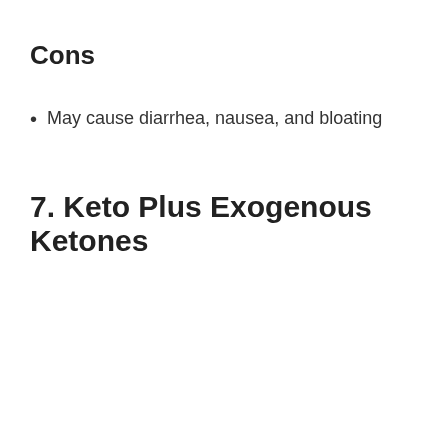Cons
May cause diarrhea, nausea, and bloating
7. Keto Plus Exogenous Ketones